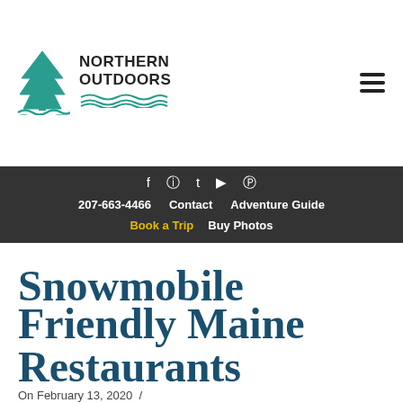[Figure (logo): Northern Outdoors logo with pine tree and water waves, teal/blue and black colors]
207-663-4466  Contact  Adventure Guide  Book a Trip  Buy Photos
Snowmobile Friendly Maine Restaurants
On February 13, 2020 /
Kennebec River Brewery, Snowmobiling in Maine
/  Leave a comment
Tags: Eustis Maine, Greenville, Jackman Maine, Moosehead Lake